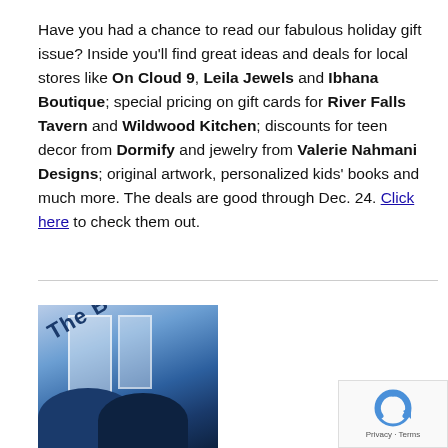Have you had a chance to read our fabulous holiday gift issue? Inside you'll find great ideas and deals for local stores like On Cloud 9, Leila Jewels and Ibhana Boutique; special pricing on gift cards for River Falls Tavern and Wildwood Kitchen; discounts for teen decor from Dormify and jewelry from Valerie Nahmani Designs; original artwork, personalized kids' books and much more. The deals are good through Dec. 24. Click here to check them out.
[Figure (photo): Photo of The Bottle Shop storefront with blue awnings and sign text visible at an angle]